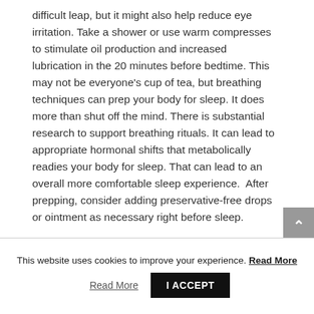difficult leap, but it might also help reduce eye irritation. Take a shower or use warm compresses to stimulate oil production and increased lubrication in the 20 minutes before bedtime. This may not be everyone's cup of tea, but breathing techniques can prep your body for sleep. It does more than shut off the mind. There is substantial research to support breathing rituals. It can lead to appropriate hormonal shifts that metabolically readies your body for sleep. That can lead to an overall more comfortable sleep experience.  After prepping, consider adding preservative-free drops or ointment as necessary right before sleep.
This website uses cookies to improve your experience. Read More  I ACCEPT